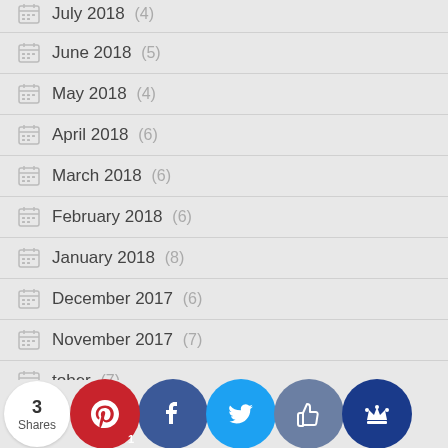July 2018 (4)
June 2018 (5)
May 2018 (4)
April 2018 (6)
March 2018 (6)
February 2018 (6)
January 2018 (8)
December 2017 (6)
November 2017 (7)
October (7)